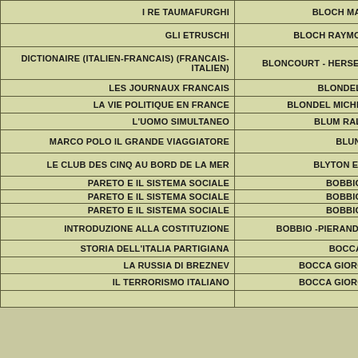| TITLE | AUTHOR |
| --- | --- |
| I RE TAUMAFURGHI | BLOCH MARC |
| GLI ETRUSCHI | BLOCH RAYMOND |
| DICTIONAIRE (ITALIEN-FRANCAIS) (FRANCAIS-ITALIEN) | BLONCOURT - HERSELIN |
| LES JOURNAUX FRANCAIS | BLONDEL M. |
| LA VIE POLITIQUE EN FRANCE | BLONDEL MICHELE |
| L'UOMO SIMULTANEO | BLUM RALPH |
| MARCO POLO IL GRANDE VIAGGIATORE | BLUNCK |
| LE CLUB DES CINQ AU BORD DE LA MER | BLYTON ENID |
| PARETO E IL SISTEMA SOCIALE | BOBBIO N. |
| PARETO E IL SISTEMA SOCIALE | BOBBIO N. |
| PARETO E IL SISTEMA SOCIALE | BOBBIO N. |
| INTRODUZIONE ALLA COSTITUZIONE | BOBBIO -PIERANDREI |
| STORIA DELL'ITALIA PARTIGIANA | BOCCA G. |
| LA RUSSIA DI BREZNEV | BOCCA GIORGIO |
| IL TERRORISMO ITALIANO | BOCCA GIORGIO |
|  |  |